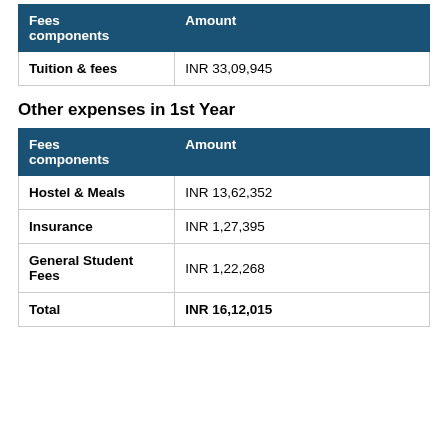| Fees components | Amount |
| --- | --- |
| Tuition & fees | INR 33,09,945 |
Other expenses in 1st Year
| Fees components | Amount |
| --- | --- |
| Hostel & Meals | INR 13,62,352 |
| Insurance | INR 1,27,395 |
| General Student Fees | INR 1,22,268 |
| Total | INR 16,12,015 |